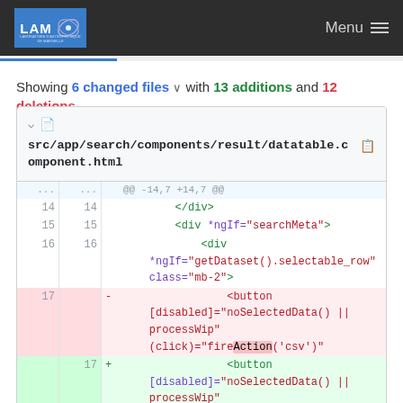LAM | Menu
Showing 6 changed files with 13 additions and 12 deletions
[Figure (screenshot): Code diff block showing src/app/search/components/result/datatable.component.html with lines 14-17, including context lines and a deleted/added button element]
| old | new |  | code |
| --- | --- | --- | --- |
| ... | ... |  | @@ -14,7 +14,7 @@ |
| 14 | 14 |  |         </div> |
| 15 | 15 |  |         <div *ngIf="searchMeta"> |
| 16 | 16 |  |             <div *ngIf="getDataset().selectable_row" class="mb-2"> |
| 17 |  | - |                 <button [disabled]="noSelectedData() || processWip" (click)="fireAction('csv')" |
|  | 17 | + |                 <button [disabled]="noSelectedData() || processWip" |